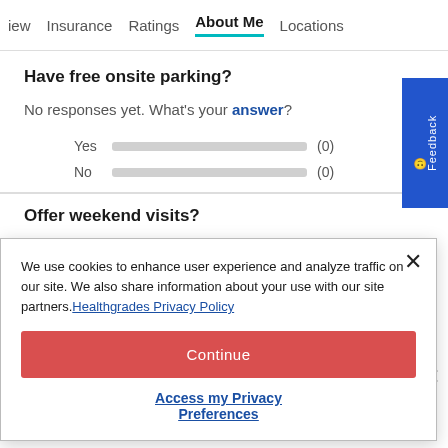iew   Insurance   Ratings   About Me   Locations
Have free onsite parking?
No responses yet. What's your answer?
Yes (0)
No (0)
Offer weekend visits?
We use cookies to enhance user experience and analyze traffic on our site. We also share information about your use with our site partners. Healthgrades Privacy Policy
Continue
Access my Privacy Preferences